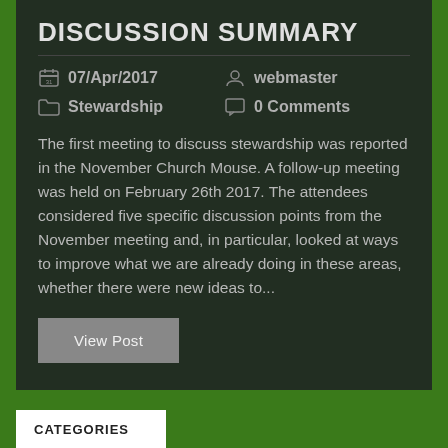DISCUSSION SUMMARY
07/Apr/2017
webmaster
Stewardship
0 Comments
The first meeting to discuss stewardship was reported in the November Church Mouse. A follow-up meeting was held on February 26th 2017. The attendees considered five specific discussion points from the November meeting and, in particular, looked at ways to improve what we are already doing in these areas, whether there were new ideas to...
View Post
CATEGORIES